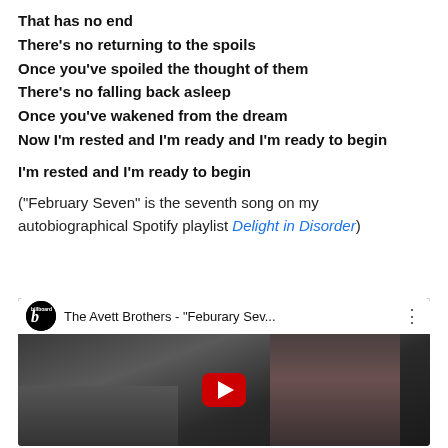That has no end
There’s no returning to the spoils
Once you’ve spoiled the thought of them
There’s no falling back asleep
Once you’ve wakened from the dream
Now I’m rested and I’m ready and I’m ready to begin
I’m rested and I’m ready to begin
(“February Seven” is the seventh song on my autobiographical Spotify playlist Delight in Disorder)
[Figure (screenshot): YouTube video embed showing The Avett Brothers - "Feburary Sev..." with Billboard logo, video thumbnail of a person with long hair, and a red play button in the center.]